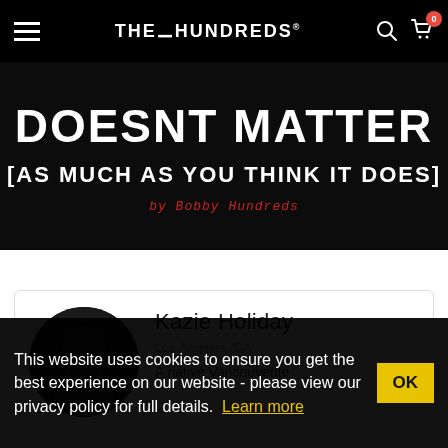THE HUNDREDS | Navigation bar with hamburger menu, logo, search, and cart (0 items)
[Figure (illustration): Dark textured background with bold white stencil text reading 'DOESNT MATTER [AS MUCH AS YOU THINK IT DOES]' and red italic text 'by Bobby Hundreds']
Kazie Holiday
Los Angeles, CA
A native Vancouverite
This website uses cookies to ensure you get the best experience on our website - please view our privacy policy for full details. Learn more